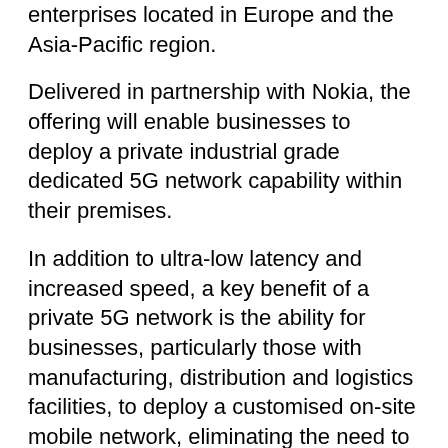enterprises located in Europe and the Asia-Pacific region.
Delivered in partnership with Nokia, the offering will enable businesses to deploy a private industrial grade dedicated 5G network capability within their premises.
In addition to ultra-low latency and increased speed, a key benefit of a private 5G network is the ability for businesses, particularly those with manufacturing, distribution and logistics facilities, to deploy a customised on-site mobile network, eliminating the need to transmit data through public networks.
"We've announced the next phase of Verizon's global 5G vision with the launch of private 5G for our international customers," says Tami Erwin, CEO, Verizon Business.
"If the past few months have taught us anything, its